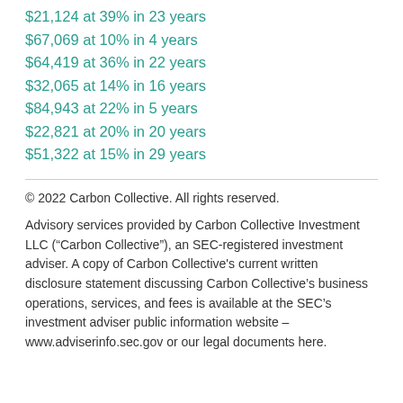$21,124 at 39% in 23 years
$67,069 at 10% in 4 years
$64,419 at 36% in 22 years
$32,065 at 14% in 16 years
$84,943 at 22% in 5 years
$22,821 at 20% in 20 years
$51,322 at 15% in 29 years
© 2022 Carbon Collective. All rights reserved.
Advisory services provided by Carbon Collective Investment LLC (“Carbon Collective”), an SEC-registered investment adviser. A copy of Carbon Collective's current written disclosure statement discussing Carbon Collective’s business operations, services, and fees is available at the SEC’s investment adviser public information website – www.adviserinfo.sec.gov or our legal documents here.